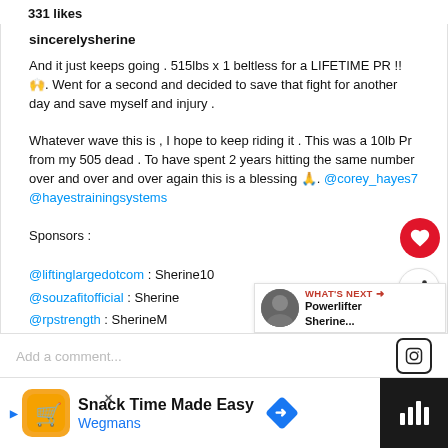331 likes
sincerelysherine
And it just keeps going . 515lbs x 1 beltless for a LIFETIME PR !!🙌. Went for a second and decided to save that fight for another day and save myself and injury .

Whatever wave this is , I hope to keep riding it . This was a 10lb Pr from my 505 dead . To have spent 2 years hitting the same number over and over and over again this is a blessing 🙏. @corey_hayes7 @hayestrainingsystems

Sponsors :

@liftinglargedotcom : Sherine10
@souzafitofficial : Sherine
@rpstrength : SherineM
@obsidian_ammonia : Sherine15
@shdwnutrition : Sherine
view all 55 comments
Add a comment...
Snack Time Made Easy
Wegmans